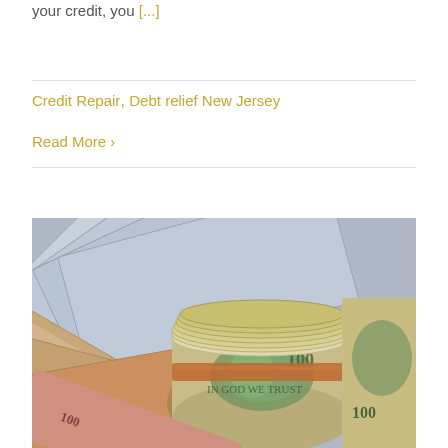your credit, you [...]
Credit Repair, Debt relief New Jersey
Read More ›
[Figure (photo): A roll of US hundred dollar bills secured with a rubber band, fanned out on top of more US dollar bills, photographed close-up.]